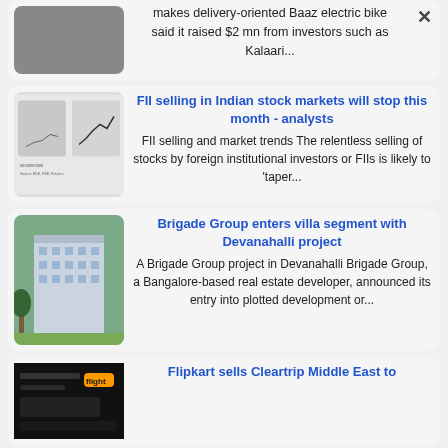makes delivery-oriented Baaz electric bike said it raised $2 mn from investors such as Kalaari...
[Figure (other): Thumbnail image of a line chart (stock market data)]
FII selling in Indian stock markets will stop this month - analysts
FII selling and market trends The relentless selling of stocks by foreign institutional investors or FIIs is likely to 'taper...
[Figure (photo): Photo of a residential apartment building]
Brigade Group enters villa segment with Devanahalli project
A Brigade Group project in Devanahalli Brigade Group, a Bangalore-based real estate developer, announced its entry into plotted development or...
[Figure (screenshot): Dark screenshot thumbnail]
Flipkart sells Cleartrip Middle East to